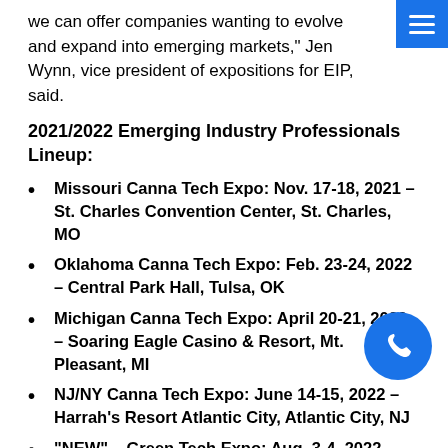we can offer companies wanting to evolve and expand into emerging markets," Jen Wynn, vice president of expositions for EIP, said.
2021/2022 Emerging Industry Professionals Lineup:
Missouri Canna Tech Expo: Nov. 17-18, 2021 – St. Charles Convention Center, St. Charles, MO
Oklahoma Canna Tech Expo: Feb. 23-24, 2022 – Central Park Hall, Tulsa, OK
Michigan Canna Tech Expo: April 20-21, 2022 – Soaring Eagle Casino & Resort, Mt. Pleasant, MI
NJ/NY Canna Tech Expo: June 14-15, 2022 – Harrah's Resort Atlantic City, Atlantic City, NJ
"NEW" – Green Tech Expo: Aug. 3-4, 2022 –